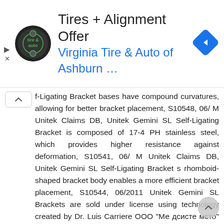[Figure (other): Advertisement banner for Virginia Tire & Auto of Ashburn with logo, title 'Tires + Alignment Offer', subtitle 'Virginia Tire & Auto of Ashburn ...', and a blue navigation diamond icon on the right.]
f-Ligating Bracket bases have compound curvatures, allowing for better bracket placement, S10548, 06/ M Unitek Claims DB, Unitek Gemini SL Self-Ligating Bracket is composed of 17-4 PH stainless steel, which provides higher resistance against deformation, S10541, 06/ M Unitek Claims DB, Unitek Gemini SL Self-Ligating Bracket s rhomboid-shaped bracket body enables a more efficient bracket placement, S10544, 06/2011 Unitek Gemini SL Brackets are sold under license using technology created by Dr. Luis Carriere ООО "Ме дсисте мсто" р rbelarus
23 Self-Ligating Appliances Self-Ligating Bracket Hand Instruments 2 SmartClip Appliance Wire Disengagement Hand Instrument Archwires are removed from Clarity SL Brackets or SmartClip Brackets by sliding the instrument s hooks beneath the archwire and lifting it away from the bracket with a squeeze C Slide Reorder Pack 5/pk Hook Insert Replacement with Allen Wrench and set of screws